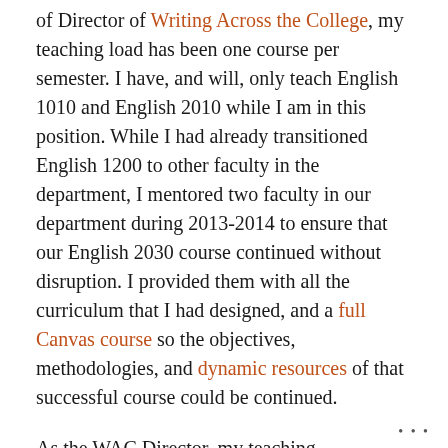of Director of Writing Across the College, my teaching load has been one course per semester. I have, and will, only teach English 1010 and English 2010 while I am in this position. While I had already transitioned English 1200 to other faculty in the department, I mentored two faculty in our department during 2013-2014 to ensure that our English 2030 course continued without disruption. I provided them with all the curriculum that I had designed, and a full Canvas course so the objectives, methodologies, and dynamic resources of that successful course could be continued.
As the WAC Director, my teaching responsibilities additionally have traveled outside of the student-centered classroom into the amorphous spaces of faculty and staff development. (I discuss these in the Professional Activity section.) These responsibilities
...